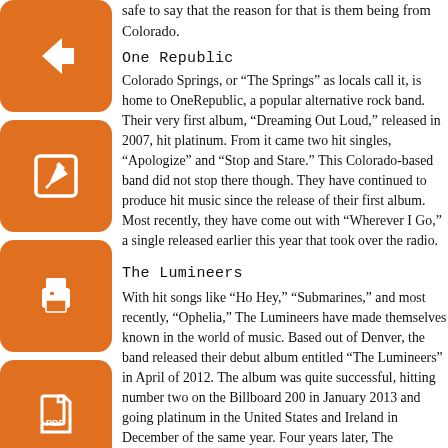safe to say that the reason for that is them being from Colorado.
[Figure (illustration): Orange rounded square icon with white left-pointing arrow (back navigation button)]
One Republic
[Figure (illustration): Orange rounded square icon with white pencil/edit icon]
Colorado Springs, or “The Springs” as locals call it, is home to OneRepublic, a popular alternative rock band. Their very first album, “Dreaming Out Loud,” released in 2007, hit platinum. From it came two hit singles, “Apologize” and “Stop and Stare.” This Colorado-based band did not stop there though. They have continued to produce hit music since the release of their first album. Most recently, they have come out with “Wherever I Go,” a single released earlier this year that took over the radio.
[Figure (illustration): Orange rounded square icon with white printer icon]
[Figure (illustration): Orange rounded square icon with white PDF/document icon]
The Lumineers
With hit songs like “Ho Hey,” “Submarines,” and most recently, “Ophelia,” The Lumineers have made themselves known in the world of music. Based out of Denver, the band released their debut album entitled “The Lumineers” in April of 2012. The album was quite successful, hitting number two on the Billboard 200 in January 2013 and going platinum in the United States and Ireland in December of the same year. Four years later, The Lumineers are still making music, having released their second album, “Cleopatra,” in April of this year. Already, it is doing quite well, and there is likely more success to come.